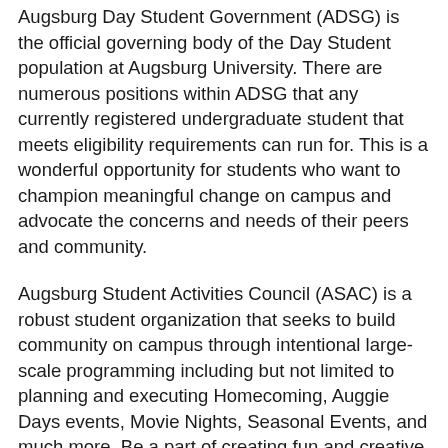Augsburg Day Student Government (ADSG) is the official governing body of the Day Student population at Augsburg University. There are numerous positions within ADSG that any currently registered undergraduate student that meets eligibility requirements can run for. This is a wonderful opportunity for students who want to champion meaningful change on campus and advocate the concerns and needs of their peers and community.
Augsburg Student Activities Council (ASAC) is a robust student organization that seeks to build community on campus through intentional large-scale programming including but not limited to planning and executing Homecoming, Auggie Days events, Movie Nights, Seasonal Events, and much more. Be a part of creating fun and creative ways for all students to connect to our campus